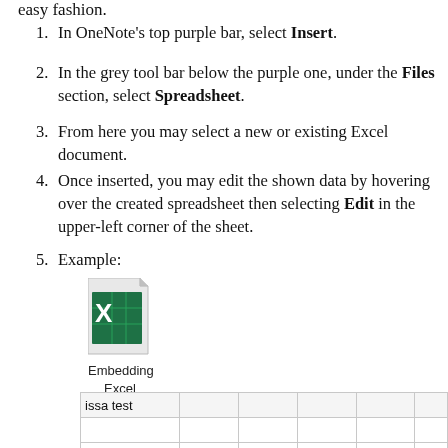easy fashion.
In OneNote's top purple bar, select Insert.
In the grey tool bar below the purple one, under the Files section, select Spreadsheet.
From here you may select a new or existing Excel document.
Once inserted, you may edit the shown data by hovering over the created spreadsheet then selecting Edit in the upper-left corner of the sheet.
Example:
[Figure (illustration): Excel file icon - green X spreadsheet icon on a document]
Embedding
Excel
| issa test |  |  |  |  |  |
|  |  |  |  |  |  |
|  |  |  |  |  |  |
|  |  |  |  |  |  |
|  |  |  |  |  |  |